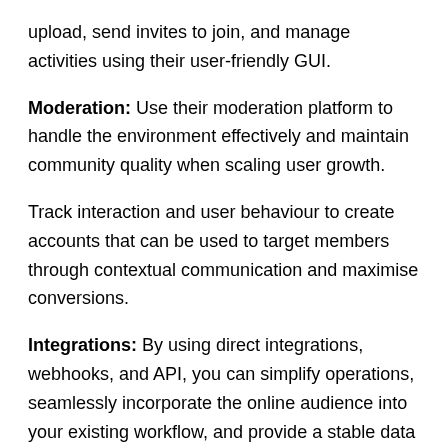upload, send invites to join, and manage activities using their user-friendly GUI.
Moderation: Use their moderation platform to handle the environment effectively and maintain community quality when scaling user growth.
Track interaction and user behaviour to create accounts that can be used to target members through contextual communication and maximise conversions.
Integrations: By using direct integrations, webhooks, and API, you can simplify operations, seamlessly incorporate the online audience into your existing workflow, and provide a stable data flow.
Fully White-Label: To have a white-label experience, create the